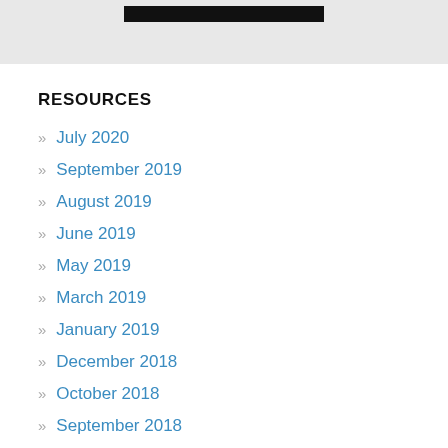[Figure (other): Top gray banner with a black bar/button element at the top center]
RESOURCES
July 2020
September 2019
August 2019
June 2019
May 2019
March 2019
January 2019
December 2018
October 2018
September 2018